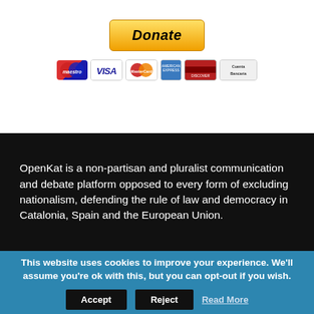[Figure (other): PayPal Donate button with payment card logos (Maestro, Visa, MasterCard, American Express, and Cuenta Bancaria)]
OpenKat is a non-partisan and pluralist communication and debate platform opposed to every form of excluding nationalism, defending the rule of law and democracy in Catalonia, Spain and the European Union.
This website uses cookies to improve your experience. We'll assume you're ok with this, but you can opt-out if you wish.
Accept  Reject  Read More